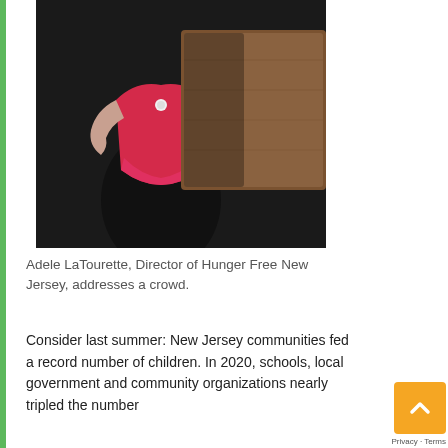[Figure (photo): A person wearing a red top stands at a wooden podium against a dark background, photographed from the torso down, gesturing with one hand.]
Adele LaTourette, Director of Hunger Free New Jersey, addresses a crowd.
Consider last summer: New Jersey communities fed a record number of children. In 2020, schools, local government and community organizations nearly tripled the number